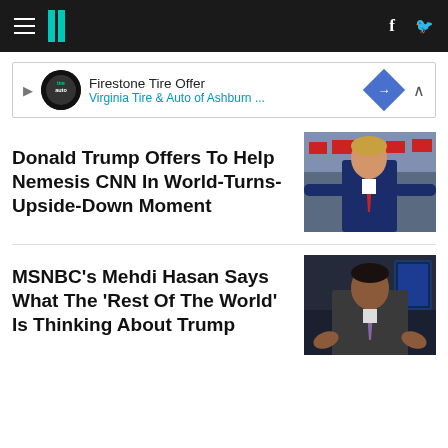HuffPost navigation bar with hamburger menu, logo, facebook and twitter icons
[Figure (other): Advertisement banner: Firestone Tire Offer - Virginia Tire & Auto of Ashburn ...]
Donald Trump Offers To Help Nemesis CNN In World-Turns-Upside-Down Moment
[Figure (photo): Donald Trump at a campaign rally, wearing a blue suit and red tie, arms outstretched, crowd in background holding signs]
MSNBC's Mehdi Hasan Says What The 'Rest Of The World' Is Thinking About Trump
[Figure (photo): Mehdi Hasan, MSNBC anchor, seated at desk with hands raised, dark studio background with blue lighting]